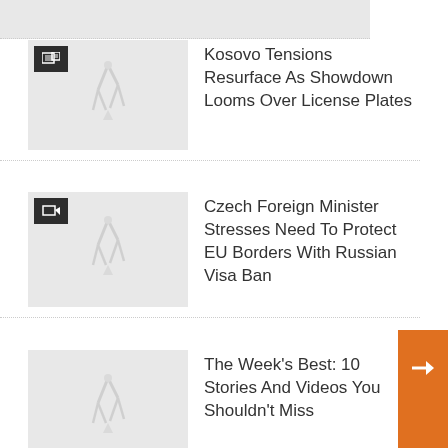[Figure (screenshot): Top partial strip - cropped news thumbnail]
Kosovo Tensions Resurface As Showdown Looms Over License Plates
Czech Foreign Minister Stresses Need To Protect EU Borders With Russian Visa Ban
The Week's Best: 10 Stories And Videos You Shouldn't Miss
[Figure (screenshot): Partial bottom news item with thumbnail]
[Figure (screenshot): Orange arrow navigation button overlay]
[Figure (screenshot): Side thumbnail partially visible on right]